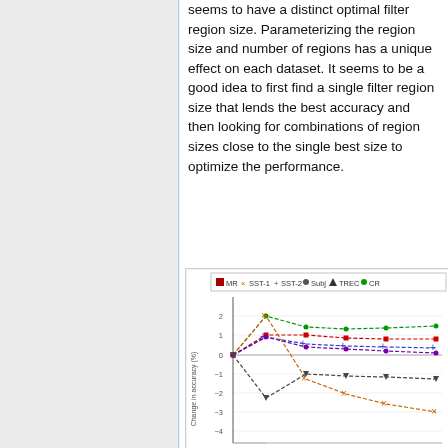seems to have a distinct optimal filter region size. Parameterizing the region size and number of regions has a unique effect on each dataset. It seems to be a good idea to first find a single filter region size that lends the best accuracy and then looking for combinations of region sizes close to the single best size to optimize the performance.
[Figure (line-chart): Line chart showing change in accuracy (%) for multiple datasets (MR, SST-1, SST-2, Subj, TREC, CR) as a function of filter region size. Lines start at 0, diverge, and then converge/stabilize.]